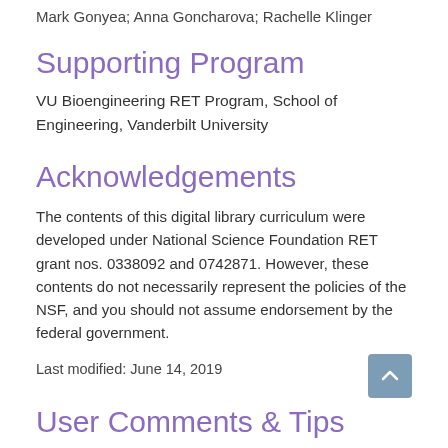Mark Gonyea; Anna Goncharova; Rachelle Klinger
Supporting Program
VU Bioengineering RET Program, School of Engineering, Vanderbilt University
Acknowledgements
The contents of this digital library curriculum were developed under National Science Foundation RET grant nos. 0338092 and 0742871. However, these contents do not necessarily represent the policies of the NSF, and you should not assume endorsement by the federal government.
Last modified: June 14, 2019
User Comments & Tips